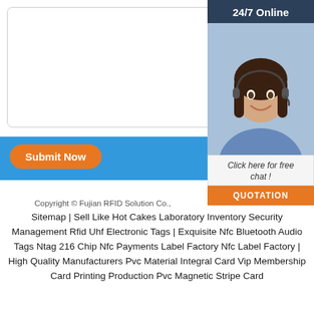Message:
[Figure (screenshot): Message text input box (empty white rectangle with rounded border)]
[Figure (infographic): Blue horizontal bar with orange 'Submit Now' rounded button on left]
[Figure (photo): 24/7 Online customer service widget on right side showing a smiling woman with headset, dark header saying '24/7 Online', text 'Click here for free chat!', and orange QUOTATION button]
Copyright © Fujian RFID Solution Co.,
Sitemap | Sell Like Hot Cakes Laboratory Inventory Security Management Rfid Uhf Electronic Tags | Exquisite Nfc Bluetooth Audio Tags Ntag 216 Chip Nfc Payments Label Factory Nfc Label Factory | High Quality Manufacturers Pvc Material Integral Card Vip Membership Card Printing Production Pvc Magnetic Stripe Card